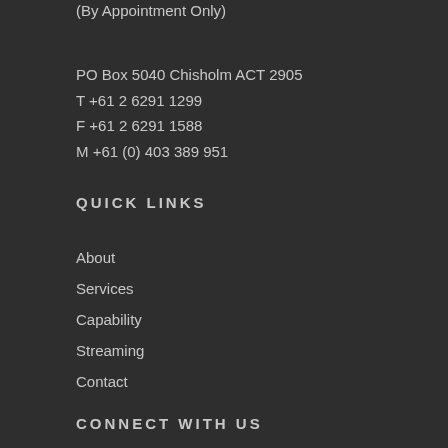(By Appointment Only)
PO Box 5040 Chisholm ACT 2905
T +61 2 6291 1299
F +61 2 6291 1588
M +61 (0) 403 389 951
QUICK LINKS
About
Services
Capability
Streaming
Contact
CONNECT WITH US